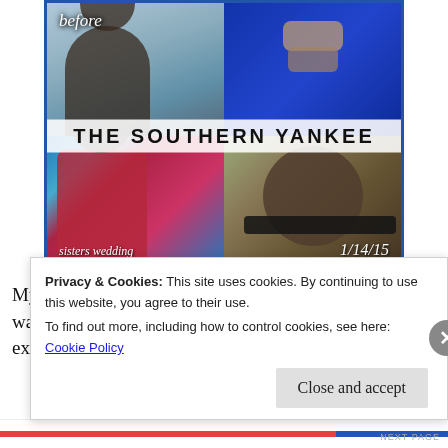[Figure (photo): Before/after collage of a person with the watermark text 'THE SOUTHERN YANKEE'. Top-left shows a person from behind labeled 'before', top-right shows hands. Bottom-left shows a woman in a red dress at 'sisters wedding', bottom-right is a close-up selfie dated '1/14/15'.]
My baby sister got married on January 3rd and I wanted to do something different. I also wanted to see exactly...
Privacy & Cookies: This site uses cookies. By continuing to use this website, you agree to their use.
To find out more, including how to control cookies, see here: Cookie Policy
Close and accept